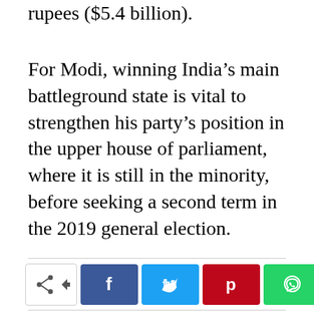rupees ($5.4 billion).
For Modi, winning India’s main battleground state is vital to strengthen his party’s position in the upper house of parliament, where it is still in the minority, before seeking a second term in the 2019 general election.
[Figure (infographic): Social media share buttons row: share icon box, Facebook, Twitter, Pinterest, WhatsApp, Email, Tumblr, Telegram]
Previous article
Next article
Indians in Britain support
Fake cops jailed: Bogus